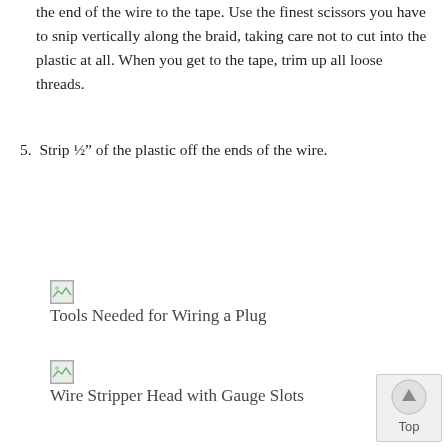the end of the wire to the tape. Use the finest scissors you have to snip vertically along the braid, taking care not to cut into the plastic at all. When you get to the tape, trim up all loose threads.
5. Strip ½" of the plastic off the ends of the wire.
[Figure (photo): Small broken image placeholder thumbnail]
Tools Needed for Wiring a Plug
[Figure (photo): Small broken image placeholder thumbnail]
Wire Stripper Head with Gauge Slots